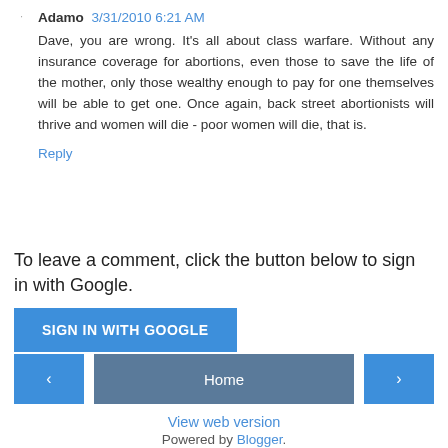Adamo 3/31/2010 6:21 AM
Dave, you are wrong. It's all about class warfare. Without any insurance coverage for abortions, even those to save the life of the mother, only those wealthy enough to pay for one themselves will be able to get one. Once again, back street abortionists will thrive and women will die - poor women will die, that is.
Reply
To leave a comment, click the button below to sign in with Google.
SIGN IN WITH GOOGLE
‹
Home
›
View web version
Powered by Blogger.